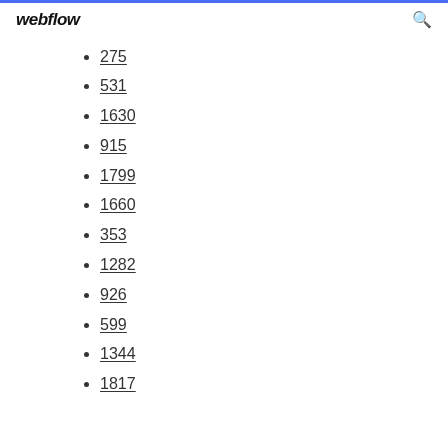webflow
275
531
1630
915
1799
1660
353
1282
926
599
1344
1817